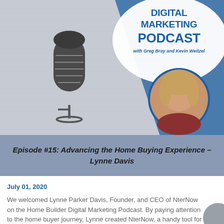[Figure (illustration): Home Builder Digital Marketing Podcast banner with vintage microphone illustration on brick background, blue geometric shapes, podcast title text, hosts' names, and circular headshot of Lynne Davis]
Episode #15: Advancing the Home Buying Experience – Lynne Davis
July 01, 2020
We welcomed Lynne Parker Davis, Founder, and CEO of NterNow on the Home Builder Digital Marketing Podcast. By paying attention to the home buyer journey, Lynne created NterNow, a handy tool for home builders and buyers. The NterNow system offers the convenience of unassisted home touring, yet keeps the property